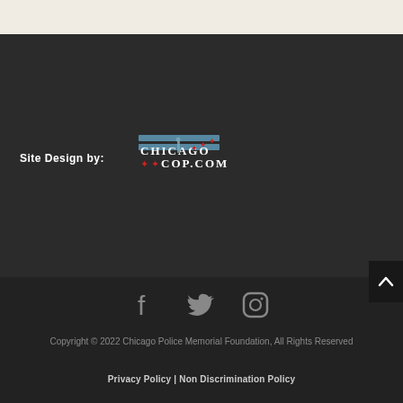Site Design by: ChicagoCop.com
[Figure (logo): ChicagoCop.com logo with Chicago flag stars and police figure]
[Figure (logo): Social media icons: Facebook, Twitter, Instagram]
Copyright © 2022 Chicago Police Memorial Foundation, All Rights Reserved
Privacy Policy | Non Discrimination Policy